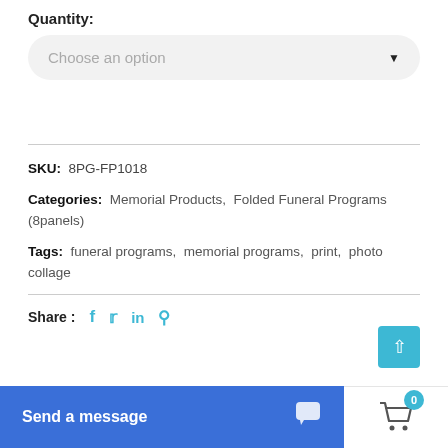Quantity:
[Figure (screenshot): Dropdown selector with placeholder text 'Choose an option' and a downward arrow, styled with rounded corners on a light gray background]
SKU:  8PG-FP1018
Categories:  Memorial Products,  Folded Funeral Programs (8panels)
Tags:  funeral programs,  memorial programs,  print,  photo collage
Share:
[Figure (screenshot): Social share icons: Facebook (f), Twitter (bird), LinkedIn (in), Pinterest (p) — all in teal/blue color]
[Figure (screenshot): Blue scroll-to-top button with upward chevron arrow]
Send a message
[Figure (screenshot): Shopping cart icon with badge showing 0]